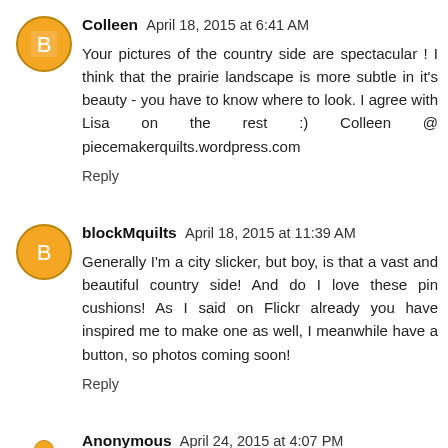Colleen  April 18, 2015 at 6:41 AM
Your pictures of the country side are spectacular ! I think that the prairie landscape is more subtle in it's beauty - you have to know where to look. I agree with Lisa on the rest :) Colleen @ piecemakerquilts.wordpress.com
Reply
blockMquilts  April 18, 2015 at 11:39 AM
Generally I'm a city slicker, but boy, is that a vast and beautiful country side! And do I love these pin cushions! As I said on Flickr already you have inspired me to make one as well, I meanwhile have a button, so photos coming soon!
Reply
Anonymous  April 24, 2015 at 4:07 PM
I love your pictures!
Reply